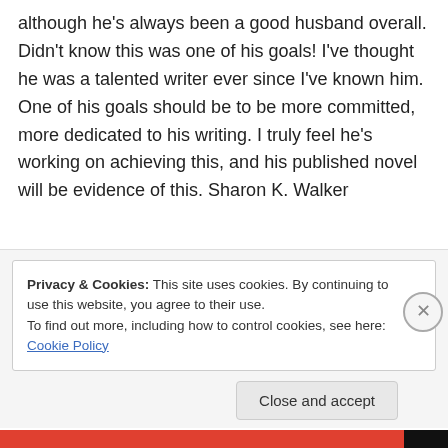although he's always been a good husband overall. Didn't know this was one of his goals! I've thought he was a talented writer ever since I've known him. One of his goals should be to be more committed, more dedicated to his writing. I truly feel he's working on achieving this, and his published novel will be evidence of this. Sharon K. Walker
★ Like
Privacy & Cookies: This site uses cookies. By continuing to use this website, you agree to their use.
To find out more, including how to control cookies, see here: Cookie Policy
Close and accept